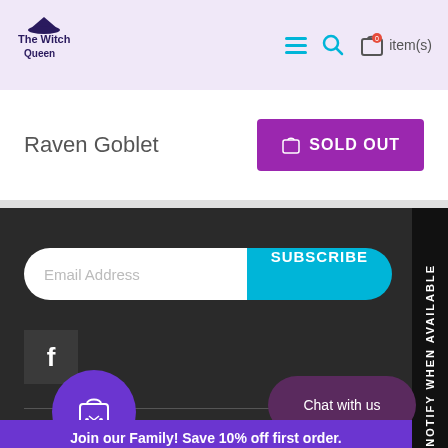The Witch Queen - navigation header with logo, hamburger menu, search and cart icons showing 0 items
Raven Goblet
SOLD OUT
Email Address
SUBSCRIBE
[Figure (logo): Facebook icon in dark square box]
CONTACT INFORMATION
[Figure (illustration): Purple circle shop button with shopping bag icon]
[Figure (illustration): Dark purple chat with us bubble]
Join our Family! Save 10% off first order.
NOTIFY WHEN AVAILABLE